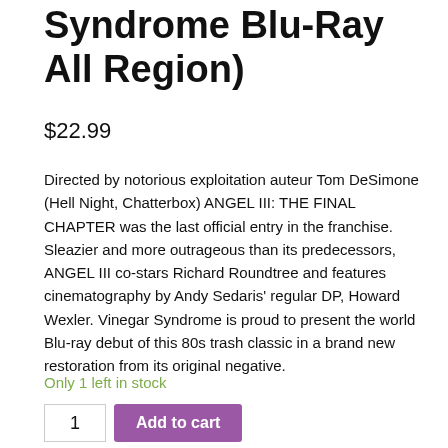Syndrome Blu-Ray All Region)
$22.99
Directed by notorious exploitation auteur Tom DeSimone (Hell Night, Chatterbox) ANGEL III: THE FINAL CHAPTER was the last official entry in the franchise. Sleazier and more outrageous than its predecessors, ANGEL III co-stars Richard Roundtree and features cinematography by Andy Sedaris' regular DP, Howard Wexler. Vinegar Syndrome is proud to present the world Blu-ray debut of this 80s trash classic in a brand new restoration from its original negative.
Only 1 left in stock